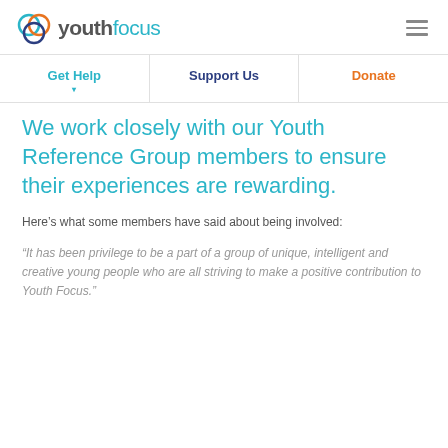youthfocus
Get Help | Support Us | Donate
We work closely with our Youth Reference Group members to ensure their experiences are rewarding.
Here’s what some members have said about being involved:
“It has been privilege to be a part of a group of unique, intelligent and creative young people who are all striving to make a positive contribution to Youth Focus.”